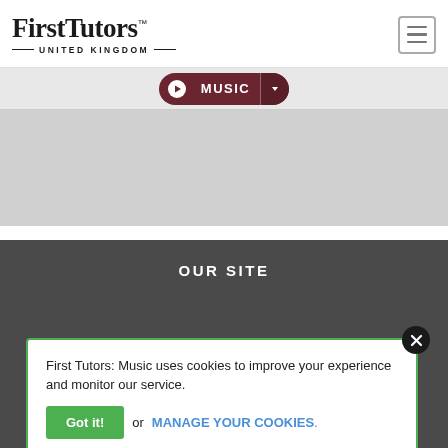[Figure (logo): First Tutors United Kingdom logo with hamburger menu icon]
MUSIC
[Figure (other): Gray content placeholder area]
OUR SITE
First Tutors: Music uses cookies to improve your experience and monitor our service.
Got it! or MANAGE YOUR COOKIES.